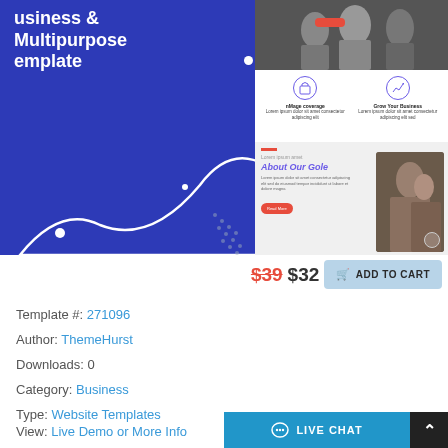[Figure (screenshot): Website template preview showing a Business & Multipurpose Template with blue panel on left with white wave decoration, and right side showing a website layout with hero image, icon sections, and About Our Goal section with team photo]
$39 $32  ADD TO CART
Template #: 271096
Author: ThemeHurst
Downloads: 0
Category: Business
Type: Website Templates
View: Live Demo or More Info